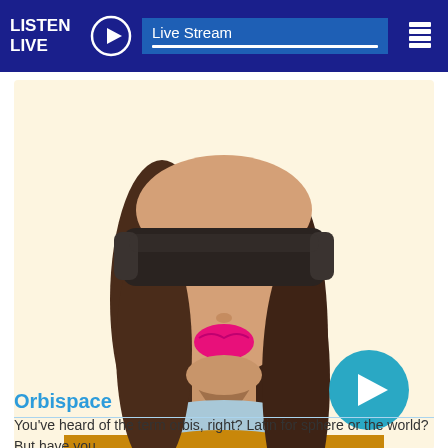LISTEN LIVE  Live Stream
[Figure (illustration): Illustration of a woman wearing a black blindfold/VR headset over her eyes, with dark brown hair, pink lips, a light blue turtleneck collar, and a yellow/mustard sweater. Background is light cream/beige. A teal play button circle is in the lower right corner of the image.]
Orbispace
You've heard of the term orbis, right? Latin for sphere or the world? But have you...